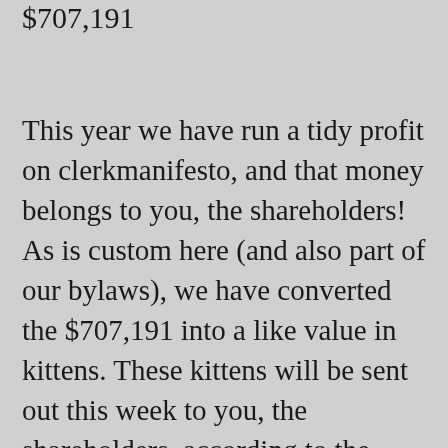$707,191
This year we have run a tidy profit on clerkmanifesto, and that money belongs to you, the shareholders! As is custom here (and also part of our bylaws), we have converted the $707,191 into a like value in kittens. These kittens will be sent out this week to you, the shareholders, according to the number of shares you are holding. If you are a longtime shareholder you will note this is a much bigger profit than in previous years and so likewise you should expect a significant increase in kittens. We also...